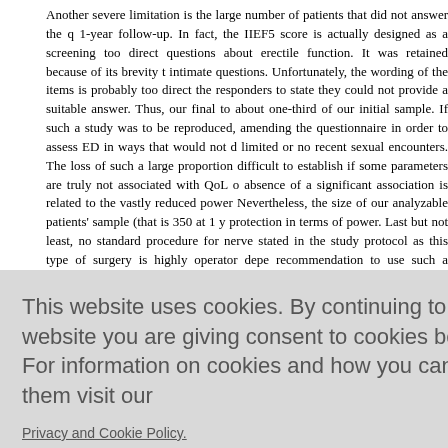Another severe limitation is the large number of patients that did not answer the 1-year follow-up. In fact, the IIEF5 score is actually designed as a screening tool with direct questions about erectile function. It was retained because of its brevity to intimate questions. Unfortunately, the wording of the items is probably too direct for the responders to state they could not provide a suitable answer. Thus, our final sample is to about one-third of our initial sample. If such a study was to be reproduced, amending the questionnaire in order to assess ED in ways that would not depend on limited or no recent sexual encounters. The loss of such a large proportion makes it difficult to establish if some parameters are truly not associated with QoL or if the absence of a significant association is related to the vastly reduced power. Nevertheless, the size of our analyzable patients' sample (that is 350 at 1 year) protection in terms of power. Last but not least, no standard procedure for nerve stated in the study protocol as this type of surgery is highly operator dependent, recommendation to use such a procedure was reiterated at each monitoring cannot be assumed that such a procedure was used and was successful in all approach in cedure and
t able to de s showed th nt medicatio ndently of m
This website uses cookies. By continuing to use this website you are giving consent to cookies being used. For information on cookies and how you can disable them visit our
Privacy and Cookie Policy.
AGREE & PROCEED
In this cohort of men with localized prostate cancer, general QoL and sexual